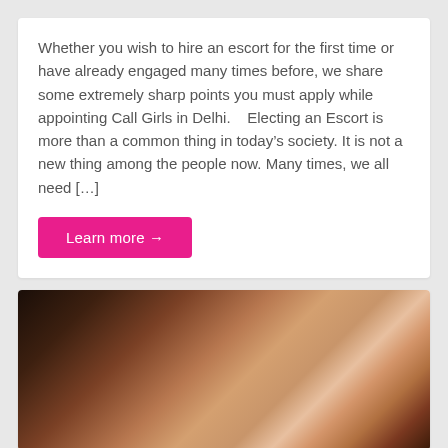Whether you wish to hire an escort for the first time or have already engaged many times before, we share some extremely sharp points you must apply while appointing Call Girls in Delhi.    Electing an Escort is more than a common thing in today's society. It is not a new thing among the people now. Many times, we all need […]
Learn more →
[Figure (photo): A woman in red lingerie posing, wearing black high heels]